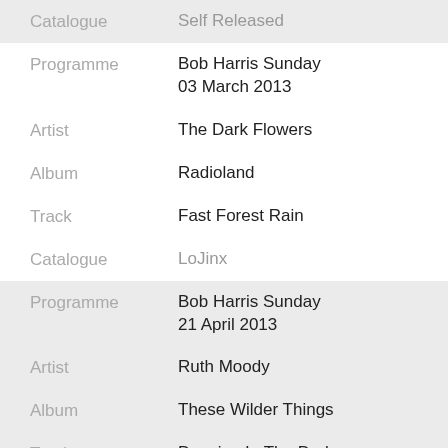Catalogue: Self Released
Programme: Bob Harris Sunday 03 March 2013
Artist: The Dark Flowers
Album: Radioland
Track: Fast Forest Rain
Catalogue: LoJinx
Programme: Bob Harris Sunday 21 April 2013
Artist: Ruth Moody
Album: These Wilder Things
Track: Dancing In The Dark
Catalogue: True North TND577
Programme: Bob Harris Country